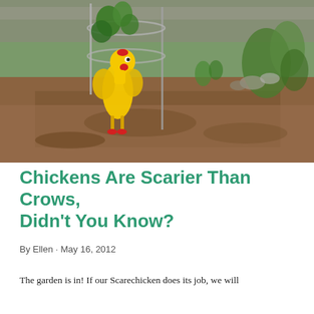[Figure (photo): A yellow rubber chicken toy placed in a garden bed next to a tomato cage with young tomato plants, set against a backdrop of tilled brown soil and green plants.]
Chickens Are Scarier Than Crows, Didn't You Know?
By Ellen · May 16, 2012
The garden is in! If our Scarechicken does its job, we will